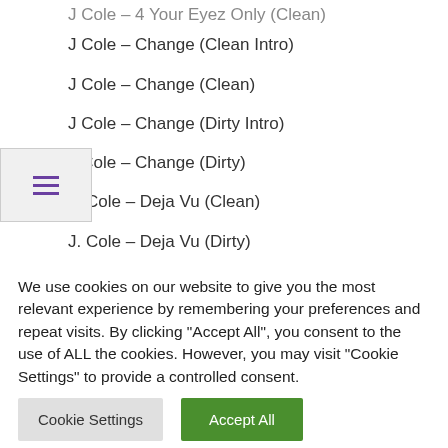J Cole – 4 Your Eyez Only (Clean)
J Cole – Change (Clean Intro)
J Cole – Change (Clean)
J Cole – Change (Dirty Intro)
J Cole – Change (Dirty)
J. Cole – Deja Vu (Clean)
J. Cole – Deja Vu (Dirty)
J Cole – False Prophets (Be Like This) (Clean Intro)
J Cole – False Prophets (Be Like This) (Clean)
J Cole – False Prophets (Be Like This) (Clean)
We use cookies on our website to give you the most relevant experience by remembering your preferences and repeat visits. By clicking "Accept All", you consent to the use of ALL the cookies. However, you may visit "Cookie Settings" to provide a controlled consent.
Cookie Settings | Accept All